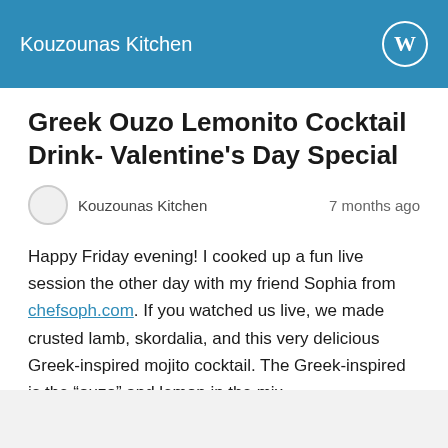Kouzounas Kitchen
Greek Ouzo Lemonito Cocktail Drink- Valentine's Day Special
Kouzounas Kitchen   7 months ago
Happy Friday evening! I cooked up a fun live session the other day with my friend Sophia from chefsoph.com. If you watched us live, we made crusted lamb, skordalia, and this very delicious Greek-inspired mojito cocktail. The Greek-inspired is the “ouzo” and lemon in the mix.